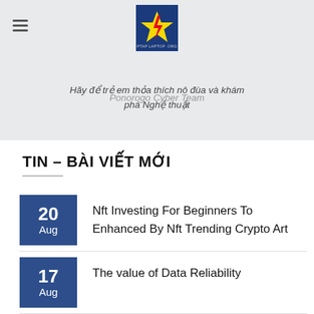Ponorogo Cyber Team
Hãy để trẻ em thỏa thích nô đùa và khám phá Nghệ thuật
TIN – BÀI VIẾT MỚI
20 Aug — Nft Investing For Beginners To Enhanced By Nft Trending Crypto Art
17 Aug — The value of Data Reliability
14 Aug — Ark Cross System Game
12 Aug — Help Me With My Essay